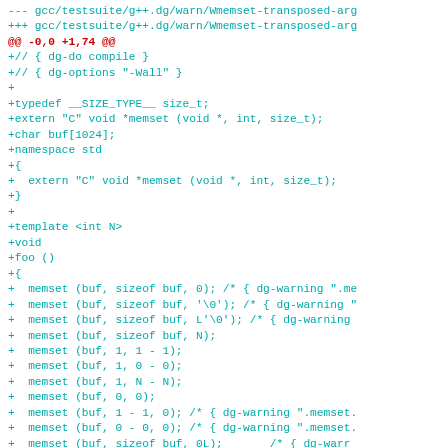diff --git a/gcc/testsuite/g++.dg/warn/Wmemset-transposed-arg... (code diff showing added lines for Wmemset-transposed-args test file)